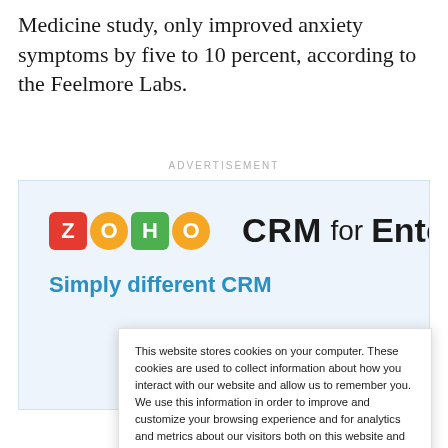Medicine study, only improved anxiety symptoms by five to 10 percent, according to the Feelmore Labs.
ADVERTISEMENT
[Figure (screenshot): Zoho CRM for Enterprise advertisement banner with light blue background. Shows the ZOHO logo with colored letter tiles (red Z, orange O, green H, orange O), followed by the text 'CRM for Enterprise' and 'Simply different CRM' in blue below.]
This website stores cookies on your computer. These cookies are used to collect information about how you interact with our website and allow us to remember you. We use this information in order to improve and customize your browsing experience and for analytics and metrics about our visitors both on this website and other media. To find out more about the cookies we use, see our Privacy Policy. California residents have the right to direct us not to sell their personal information to third parties by filing an Opt-Out Request: Do Not Sell My Personal Info.